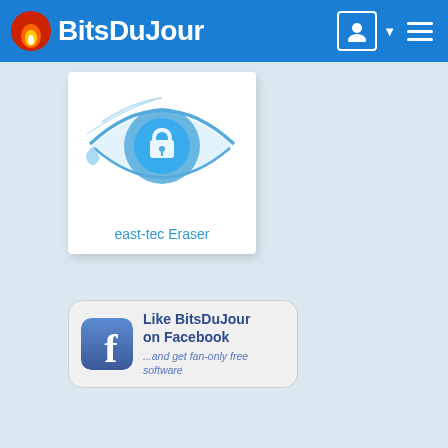BitsDuJour
[Figure (logo): east-tec Eraser product logo: blue eye with a lock/key pupil design]
east-tec Eraser
[Figure (infographic): Facebook like button widget with Facebook logo icon, text 'Like BitsDuJour on Facebook' and '...and get fan-only free software']